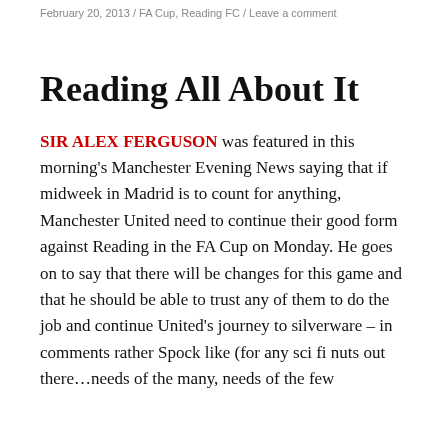February 20, 2013 / FA Cup, Reading FC / Leave a comment
Reading All About It
SIR ALEX FERGUSON was featured in this morning's Manchester Evening News saying that if midweek in Madrid is to count for anything, Manchester United need to continue their good form against Reading in the FA Cup on Monday. He goes on to say that there will be changes for this game and that he should be able to trust any of them to do the job and continue United's journey to silverware – in comments rather Spock like (for any sci fi nuts out there…needs of the many, needs of the few